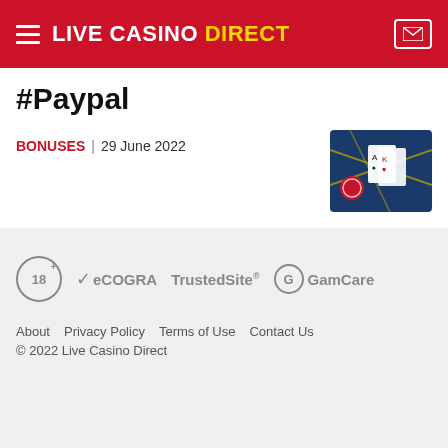LIVE CASINO DIRECT
#Paypal
BONUSES | 29 June 2022
[Figure (photo): Casino table with playing cards and red chip on blue felt with yellow lines]
[Figure (logo): 18+ age restriction logo, eCOGRA logo, TrustedSite logo, GamCare logo]
About | Privacy Policy | Terms of Use | Contact Us | © 2022 Live Casino Direct